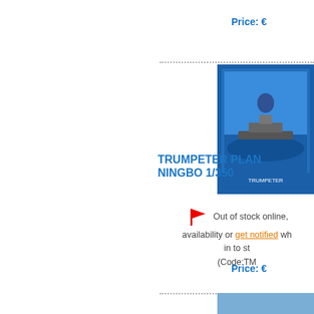Price: €
[Figure (photo): Blue box packaging of a Trumpeter plastic model kit, ship model]
TRUMPETER PLAN... NINGBO 1/350
Out of stock online, availability or get notified wh... in to st... (Code:TM...
Price: €
[Figure (photo): Naval warship model kit box art showing ship at sea]